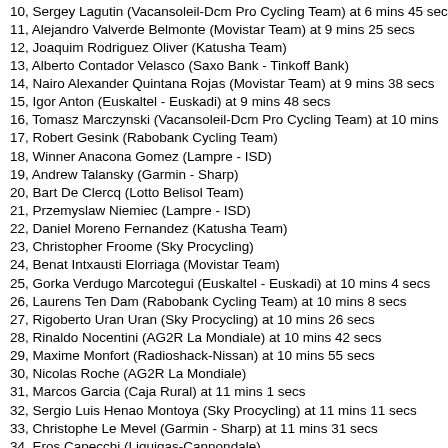10, Sergey Lagutin (Vacansoleil-Dcm Pro Cycling Team) at 6 mins 45 secs
11, Alejandro Valverde Belmonte (Movistar Team) at 9 mins 25 secs
12, Joaquim Rodriguez Oliver (Katusha Team)
13, Alberto Contador Velasco (Saxo Bank - Tinkoff Bank)
14, Nairo Alexander Quintana Rojas (Movistar Team) at 9 mins 38 secs
15, Igor Anton (Euskaltel - Euskadi) at 9 mins 48 secs
16, Tomasz Marczynski (Vacansoleil-Dcm Pro Cycling Team) at 10 mins
17, Robert Gesink (Rabobank Cycling Team)
18, Winner Anacona Gomez (Lampre - ISD)
19, Andrew Talansky (Garmin - Sharp)
20, Bart De Clercq (Lotto Belisol Team)
21, Przemyslaw Niemiec (Lampre - ISD)
22, Daniel Moreno Fernandez (Katusha Team)
23, Christopher Froome (Sky Procycling)
24, Benat Intxausti Elorriaga (Movistar Team)
25, Gorka Verdugo Marcotegui (Euskaltel - Euskadi) at 10 mins 4 secs
26, Laurens Ten Dam (Rabobank Cycling Team) at 10 mins 8 secs
27, Rigoberto Uran Uran (Sky Procycling) at 10 mins 26 secs
28, Rinaldo Nocentini (AG2R La Mondiale) at 10 mins 42 secs
29, Maxime Monfort (Radioshack-Nissan) at 10 mins 55 secs
30, Nicolas Roche (AG2R La Mondiale)
31, Marcos Garcia (Caja Rural) at 11 mins 1 secs
32, Sergio Luis Henao Montoya (Sky Procycling) at 11 mins 11 secs
33, Christophe Le Mevel (Garmin - Sharp) at 11 mins 31 secs
34, Eros Capecchi (Liquigas-Cannondale)